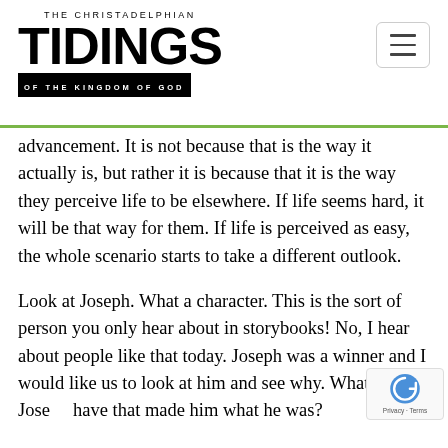THE CHRISTADELPHIAN TIDINGS OF THE KINGDOM OF GOD
advancement. It is not because that is the way it actually is, but rather it is because that it is the way they perceive life to be elsewhere. If life seems hard, it will be that way for them. If life is perceived as easy, the whole scenario starts to take a different outlook.
Look at Joseph. What a character. This is the sort of person you only hear about in storybooks! No, I hear about people like that today. Joseph was a winner and I would like us to look at him and see why. What did Joseph have that made him what he was?